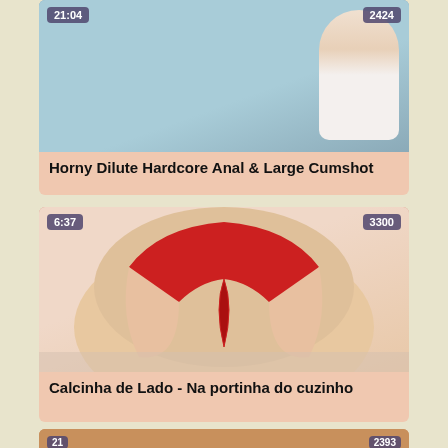[Figure (photo): Video thumbnail showing a room scene, with badge overlay '21:04' top-left and '2424' top-right]
Horny Dilute Hardcore Anal & Large Cumshot
[Figure (photo): Video thumbnail showing close-up of person in red underwear, with badge overlay '6:37' top-left and '3300' top-right]
Calcinha de Lado - Na portinha do cuzinho
[Figure (photo): Partial video thumbnail at bottom of page with badge overlay '21' top-left and '2393' top-right]